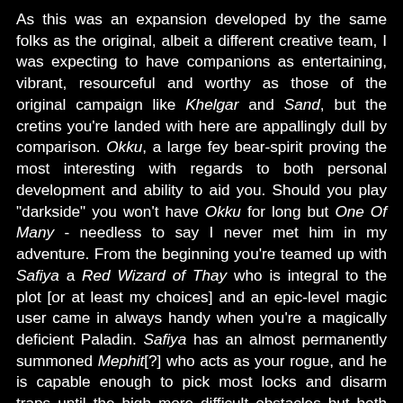As this was an expansion developed by the same folks as the original, albeit a different creative team, I was expecting to have companions as entertaining, vibrant, resourceful and worthy as those of the original campaign like Khelgar and Sand, but the cretins you're landed with here are appallingly dull by comparison. Okku, a large fey bear-spirit proving the most interesting with regards to both personal development and ability to aid you. Should you play "darkside" you won't have Okku for long but One Of Many - needless to say I never met him in my adventure. From the beginning you're teamed up with Safiya a Red Wizard of Thay who is integral to the plot [or at least my choices] and an epic-level magic user came in always handy when you're a magically deficient Paladin. Safiya has an almost permanently summoned Mephit[?] who acts as your rogue, and he is capable enough to pick most locks and disarm traps until the high more difficult obstacles but both are uninteresting and I doubt I'd have mourned their loss if suitable replacements were available unlike the attachments and bonds between the original campaign characters like Elanee and Neeshka. That said the companions now contain a sense of accountability with players as if you treated them well and if